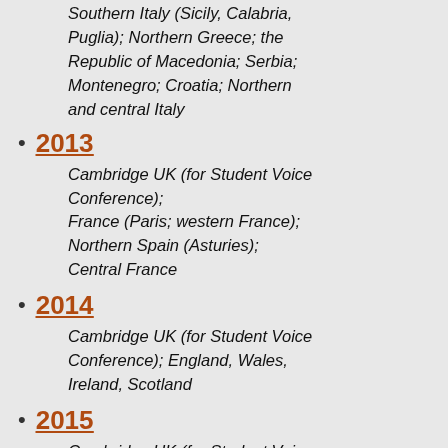Southern Italy (Sicily, Calabria, Puglia);  Northern Greece; the Republic of Macedonia;  Serbia;  Montenegro;  Croatia; Northern and central Italy
2013
Cambridge UK (for Student Voice Conference);
France (Paris; western France);
Northern Spain (Asturies);
Central France
2014
Cambridge UK (for Student Voice Conference); England, Wales, Ireland, Scotland
2015
Cambridge UK (for Student Voice Conference);
France; Germany [Rudolstadt TFF]; Czech Republic; Poland;